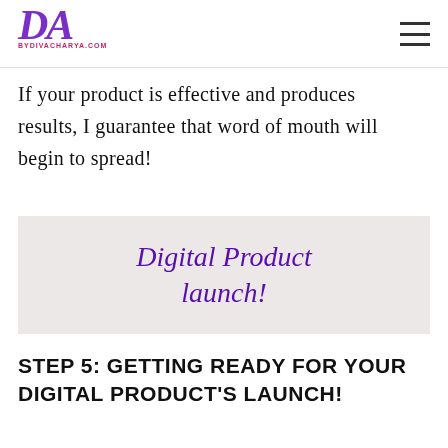BYDIVACHARYA.COM
If your product is effective and produces results, I guarantee that word of mouth will begin to spread!
[Figure (illustration): Light beige/gray banner box with italic purple serif text reading 'Digital Product launch!']
STEP 5: GETTING READY FOR YOUR DIGITAL PRODUCT'S LAUNCH!